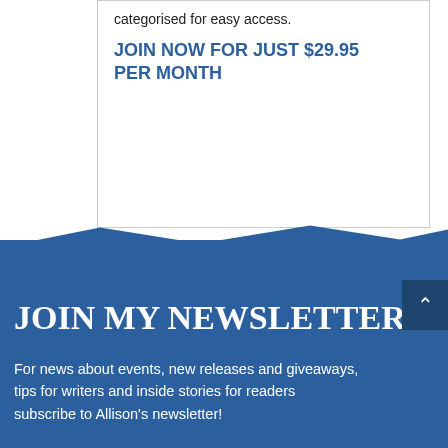categorised for easy access.
JOIN NOW FOR JUST $29.95 PER MONTH
JOIN MY NEWSLETTER
For news about events, new releases and giveaways, tips for writers and inside stories for readers subscribe to Allison's newsletter!